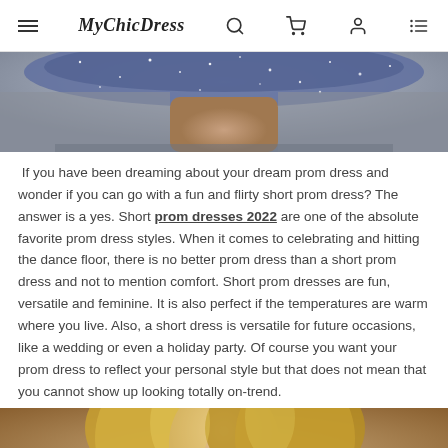MyChicDress
[Figure (photo): Bottom portion of a sparkly/glittery short prom dress on a model, showing legs]
If you have been dreaming about your dream prom dress and wonder if you can go with a fun and flirty short prom dress? The answer is a yes. Short prom dresses 2022 are one of the absolute favorite prom dress styles. When it comes to celebrating and hitting the dance floor, there is no better prom dress than a short prom dress and not to mention comfort. Short prom dresses are fun, versatile and feminine. It is also perfect if the temperatures are warm where you live. Also, a short dress is versatile for future occasions, like a wedding or even a holiday party. Of course you want your prom dress to reflect your personal style but that does not mean that you cannot show up looking totally on-trend.
[Figure (photo): Portrait photo of a young woman with blonde highlighted hair, wearing a dress with embellishments]